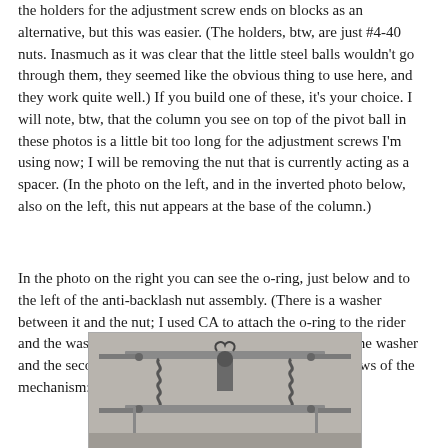the holders for the adjustment screw ends on blocks as an alternative, but this was easier. (The holders, btw, are just #4-40 nuts. Inasmuch as it was clear that the little steel balls wouldn't go through them, they seemed like the obvious thing to use here, and they work quite well.) If you build one of these, it's your choice. I will note, btw, that the column you see on top of the pivot ball in these photos is a little bit too long for the adjustment screws I'm using now; I will be removing the nut that is currently acting as a spacer. (In the photo on the left, and in the inverted photo below, also on the left, this nut appears at the base of the column.)
In the photo on the right you can see the o-ring, just below and to the left of the anti-backlash nut assembly. (There is a washer between it and the nut; I used CA to attach the o-ring to the rider and the washer, and then epoxy to attach the first nut to the washer and the second nut to the first one.) Here are two overviews of the mechanism:
[Figure (photo): Black and white photograph of a mechanical assembly showing a flat platform with adjustment screws, springs, and a central pivot ball mechanism viewed from the front.]